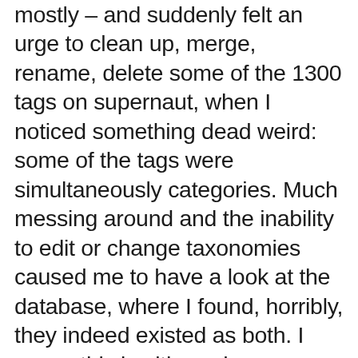mostly – and suddenly felt an urge to clean up, merge, rename, delete some of the 1300 tags on supernaut, when I noticed something dead weird: some of the tags were simultaneously categories. Much messing around and the inability to edit or change taxonomies caused me to have a look at the database, where I found, horribly, they indeed existed as both. I guess this is either a hangover from the Movable Type port some years ago, or a plugin that didn't do its job properly around the same time. So I manually deleting 50 or so of these and their relationships. And then did some more merging and renaming. And now I must eat.